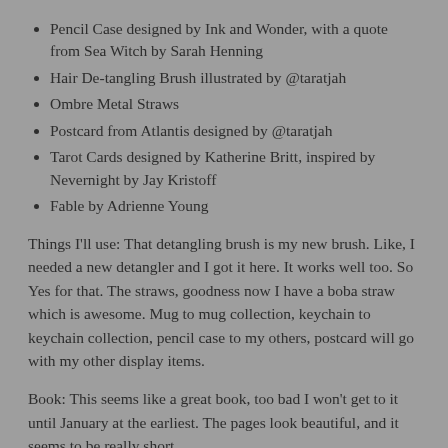Pencil Case designed by Ink and Wonder, with a quote from Sea Witch by Sarah Henning
Hair De-tangling Brush illustrated by @taratjah
Ombre Metal Straws
Postcard from Atlantis designed by @taratjah
Tarot Cards designed by Katherine Britt, inspired by Nevernight by Jay Kristoff
Fable by Adrienne Young
Things I'll use: That detangling brush is my new brush. Like, I needed a new detangler and I got it here. It works well too. So Yes for that. The straws, goodness now I have a boba straw which is awesome. Mug to mug collection, keychain to keychain collection, pencil case to my others, postcard will go with my other display items.
Book: This seems like a great book, too bad I won't get to it until January at the earliest. The pages look beautiful, and it seems to be really short.
I really loved all the items in this box for their coherency to the theme